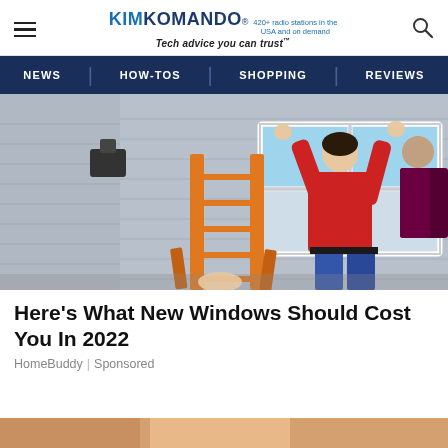KIMKOMANDO® 420+ radio stations in the USA and on demand Tech advice you can trust™
NEWS | HOW-TOS | SHOPPING | REVIEWS
[Figure (photo): Workers installing a window on a house exterior, with an orange ladder in the foreground and a person in a red shirt holding up a white window frame]
Here's What New Windows Should Cost You In 2022
HomeBuddy | Sponsored
[Figure (photo): Partially visible image at the bottom of the page, cropped]